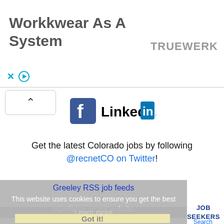[Figure (screenshot): Advertisement banner for TRUEWERK 'Workwear As A System' with close and play controls]
[Figure (logo): Facebook and LinkedIn social media icons]
Get the latest Colorado jobs by following @recnetCO on Twitter!
Greeley RSS job feeds
This website uses cookies to ensure you get the best experience on our website.
Learn more
Got it!
JOB SEEKERS
Search Greeley jobs